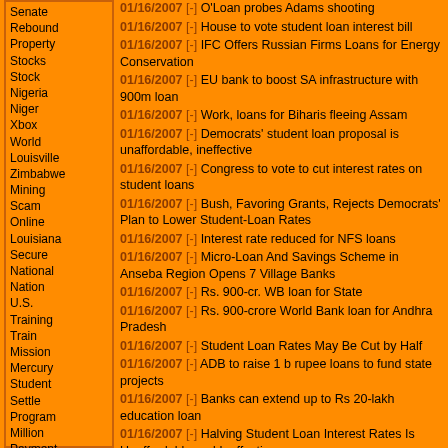Senate
Rebound
Property
Stocks
Stock
Nigeria
Niger
Xbox
World
Louisville
Zimbabwe
Mining
Scam
Online
Louisiana
Secure
National
Nation
U.S.
Training
Train
Mission
Mercury
Student
Settle
Program
Million
Payment
Money
Spain
Mortgage
Loan
01/16/2007 [-] O'Loan probes Adams shooting
01/16/2007 [-] House to vote student loan interest bill
01/16/2007 [-] IFC Offers Russian Firms Loans for Energy Conservation
01/16/2007 [-] EU bank to boost SA infrastructure with 900m loan
01/16/2007 [-] Work, loans for Biharis fleeing Assam
01/16/2007 [-] Democrats' student loan proposal is unaffordable, ineffective
01/16/2007 [-] Congress to vote to cut interest rates on student loans
01/16/2007 [-] Bush, Favoring Grants, Rejects Democrats' Plan to Lower Student-Loan Rates
01/16/2007 [-] Interest rate reduced for NFS loans
01/16/2007 [-] Micro-Loan And Savings Scheme in Anseba Region Opens 7 Village Banks
01/16/2007 [-] Rs. 900-cr. WB loan for State
01/16/2007 [-] Rs. 900-crore World Bank loan for Andhra Pradesh
01/16/2007 [-] Student Loan Rates May Be Cut by Half
01/16/2007 [-] ADB to raise 1 b rupee loans to fund state projects
01/16/2007 [-] Banks can extend up to Rs 20-lakh education loan
01/16/2007 [-] Halving Student Loan Interest Rates Is Unaffordable and Ineffective
01/16/2007 [-] Bill to change regulation of pay day loan and title companies eyed in Helena